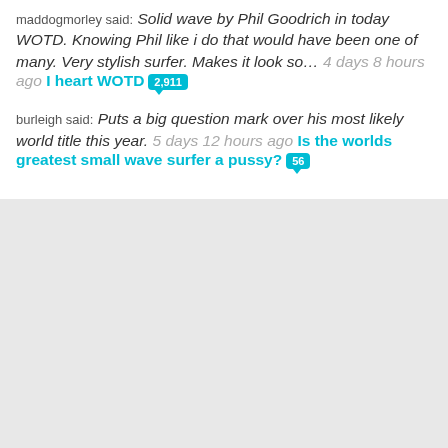maddogmorley said: Solid wave by Phil Goodrich in today WOTD. Knowing Phil like i do that would have been one of many. Very stylish surfer. Makes it look so… 4 days 8 hours ago I heart WOTD [2,911]
burleigh said: Puts a big question mark over his most likely world title this year. 5 days 12 hours ago Is the worlds greatest small wave surfer a pussy? [56]